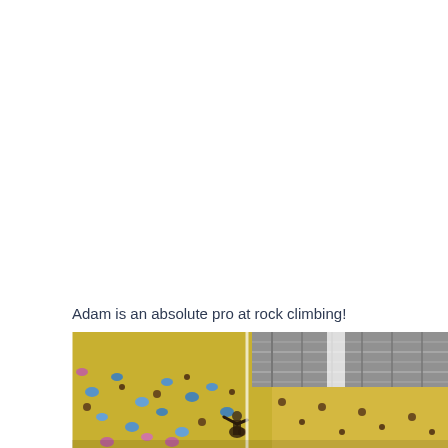Adam is an absolute pro at rock climbing!
[Figure (photo): Indoor rock climbing gym with yellow textured walls covered in colorful climbing holds (blue, pink, dark). A climber is visible on the wall. The ceiling shows exposed silver ductwork/insulation with some natural light coming through.]